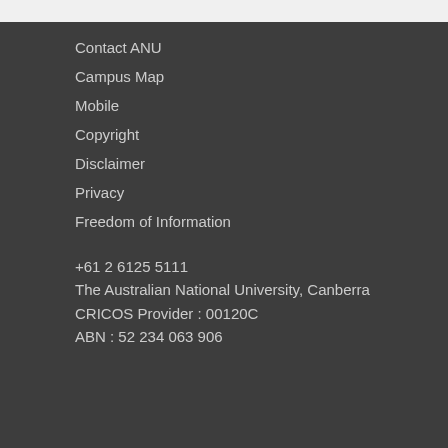Contact ANU
Campus Map
Mobile
Copyright
Disclaimer
Privacy
Freedom of Information
+61 2 6125 5111
The Australian National University, Canberra
CRICOS Provider : 00120C
ABN : 52 234 063 906